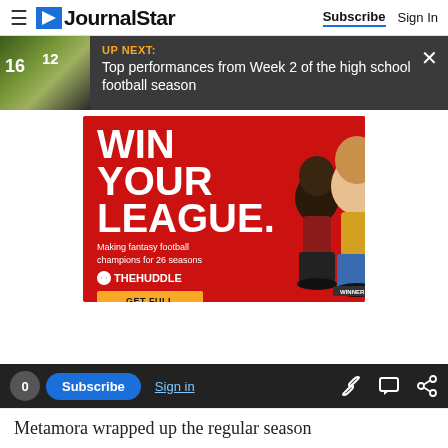JournalStar  Subscribe  Sign In
[Figure (screenshot): UP NEXT: Top performances from Week 2 of the high school football season — dark banner with football player photo thumbnail and X close button]
[Figure (infographic): WIN YOUR LEAGUE. Making fantasy football champions for 26 seasons. THE HUDDLE. GET FULL ACCESS. New subscribers get $10 off your subscription Offer Valid Until 9/30/22. Red background advertisement with bobblehead figurines.]
[Figure (screenshot): Bottom toolbar with 0 count, Subscribe button, Sign in link, and share icons on dark background]
Metamora wrapped up the regular season